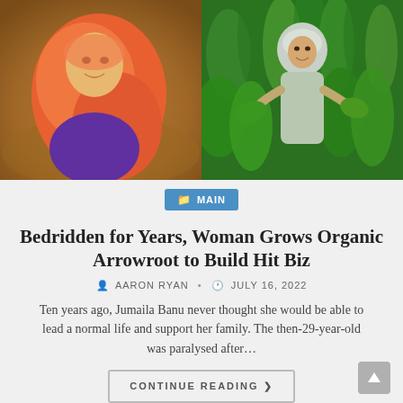[Figure (photo): Two photos side by side: left shows a woman wearing an orange hijab smiling, sitting outdoors against an earthy background; right shows a woman in a light grey hijab standing in a lush green plant field holding large leaves.]
MAIN
Bedridden for Years, Woman Grows Organic Arrowroot to Build Hit Biz
AARON RYAN · JULY 16, 2022
Ten years ago, Jumaila Banu never thought she would be able to lead a normal life and support her family. The then-29-year-old was paralysed after…
CONTINUE READING ❯